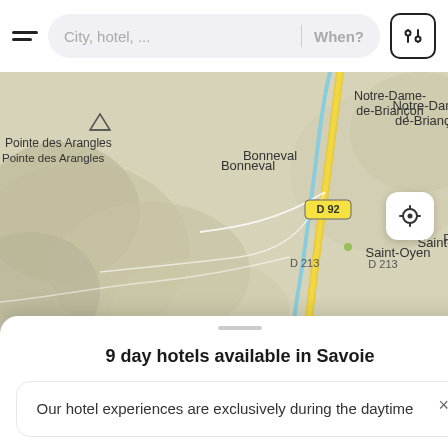[Figure (screenshot): Mobile app top navigation bar with hamburger menu, search pill input showing 'City, hotel, ...' and 'When?' placeholder, and a filter/settings button]
[Figure (map): Topographic map showing French Alpine region with locations: Notre-Dame-de-Briançon, Pointe des Arangles, Bonneval, Petit-Cœur, Saint-Oyen, road labels D 213, D 92, D 85. Yellow road running vertically along a river valley. Location button overlay at right.]
9 day hotels available in Savoie
Our hotel experiences are exclusively during the daytime
[Figure (photo): Partial hotel room interior photo visible at bottom of screen]